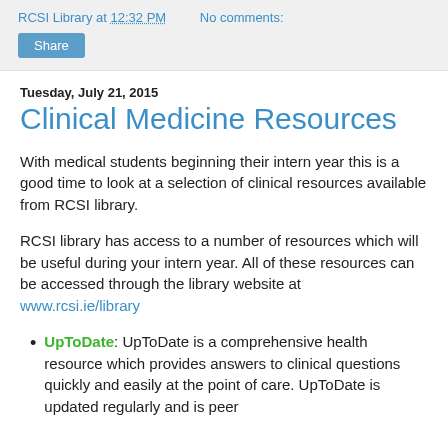RCSI Library at 12:32 PM   No comments:
Share
Tuesday, July 21, 2015
Clinical Medicine Resources
With medical students beginning their intern year this is a good time to look at a selection of clinical resources available from RCSI library.
RCSI library has access to a number of resources which will be useful during your intern year. All of these resources can be accessed through the library website at www.rcsi.ie/library
UpToDate: UpToDate is a comprehensive health resource which provides answers to clinical questions quickly and easily at the point of care. UpToDate is updated regularly and is peer